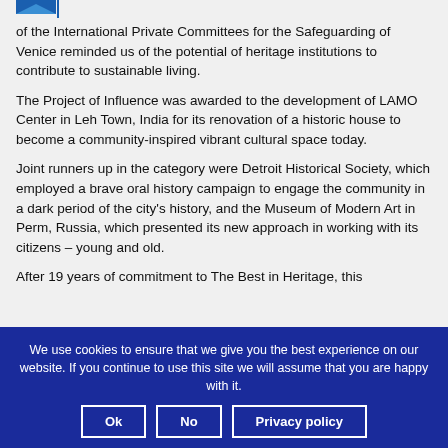[Figure (logo): Partial logo visible at top left corner]
of the International Private Committees for the Safeguarding of Venice reminded us of the potential of heritage institutions to contribute to sustainable living.
The Project of Influence was awarded to the development of LAMO Center in Leh Town, India for its renovation of a historic house to become a community-inspired vibrant cultural space today.
Joint runners up in the category were Detroit Historical Society, which employed a brave oral history campaign to engage the community in a dark period of the city's history, and the Museum of Modern Art in Perm, Russia, which presented its new approach in working with its citizens – young and old.
After 19 years of commitment to The Best in Heritage, this
We use cookies to ensure that we give you the best experience on our website. If you continue to use this site we will assume that you are happy with it.